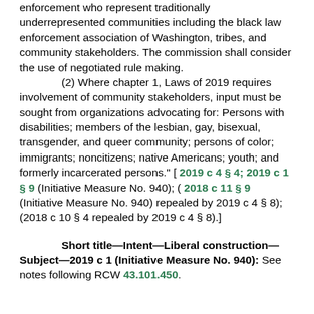enforcement who represent traditionally underrepresented communities including the black law enforcement association of Washington, tribes, and community stakeholders. The commission shall consider the use of negotiated rule making.
(2) Where chapter 1, Laws of 2019 requires involvement of community stakeholders, input must be sought from organizations advocating for: Persons with disabilities; members of the lesbian, gay, bisexual, transgender, and queer community; persons of color; immigrants; noncitizens; native Americans; youth; and formerly incarcerated persons." [ 2019 c 4 § 4; 2019 c 1 § 9 (Initiative Measure No. 940); ( 2018 c 11 § 9 (Initiative Measure No. 940) repealed by 2019 c 4 § 8); (2018 c 10 § 4 repealed by 2019 c 4 § 8).]
Short title—Intent—Liberal construction—Subject—2019 c 1 (Initiative Measure No. 940): See notes following RCW 43.101.450.